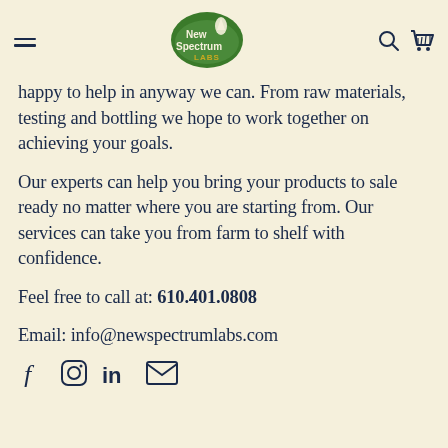New Spectrum Labs
happy to help in anyway we can. From raw materials, testing and bottling we hope to work together on achieving your goals.
Our experts can help you bring your products to sale ready no matter where you are starting from. Our services can take you from farm to shelf with confidence.
Feel free to call at: 610.401.0808
Email: info@newspectrumlabs.com
[Figure (other): Social media icons: Facebook, Instagram, LinkedIn, Email]